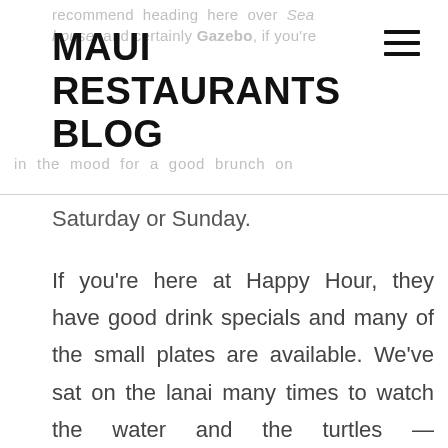recommend heading here over Sea house, and certainly Gazebo, if you're in the mood for a good brunch on
MAUI RESTAURANTS BLOG
Saturday or Sunday.
If you're here at Happy Hour, they have good drink specials and many of the small plates are available. We've sat on the lanai many times to watch the water and the turtles — sometimes dozens of them — feed on the rocks just below the restaurant at